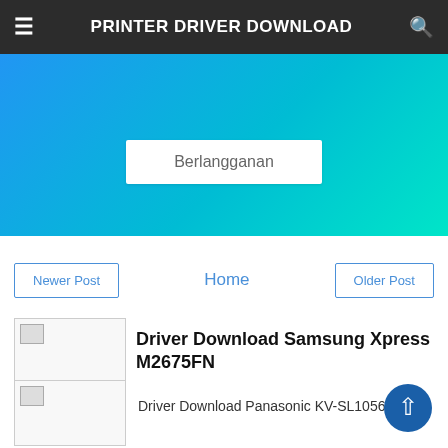PRINTER DRIVER DOWNLOAD
[Figure (screenshot): Blue gradient banner with a white Subscribe button labeled 'Berlangganan']
Berlangganan
Newer Post
Home
Older Post
[Figure (photo): Broken image placeholder thumbnail]
Driver Download Samsung Xpress M2675FN
[Figure (photo): Broken image placeholder thumbnail]
Driver Download Panasonic KV-SL1056